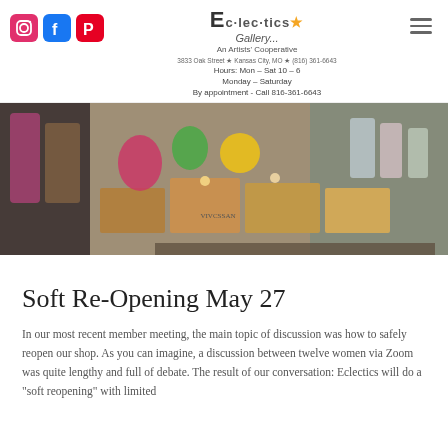Eclectics Gallery - An Artists Cooperative
Hours: Mon - Sat 10 - 6
Monday - Saturday
By appointment - Call 816-361-6643
[Figure (photo): Interior/window display of Eclectics Gallery showing colorful artworks, handmade figures, decorative items arranged on wooden crates and display surfaces]
Soft Re-Opening May 27
In our most recent member meeting, the main topic of discussion was how to safely reopen our shop. As you can imagine, a discussion between twelve women via Zoom was quite lengthy and full of debate. The result of our conversation: Eclectics will do a "soft reopening" with limited